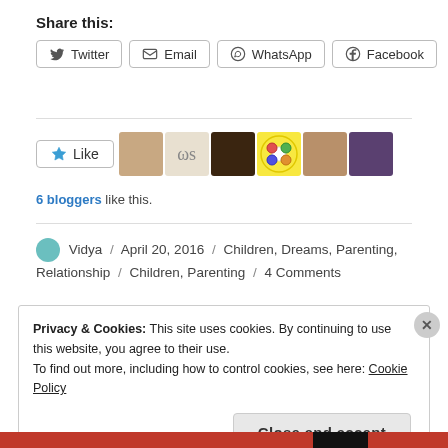Share this:
Twitter | Email | WhatsApp | Facebook
[Figure (other): Like button with 6 blogger avatars]
6 bloggers like this.
Vidya / April 20, 2016 / Children, Dreams, Parenting, Relationship / Children, Parenting / 4 Comments
Privacy & Cookies: This site uses cookies. By continuing to use this website, you agree to their use.
To find out more, including how to control cookies, see here: Cookie Policy
Close and accept